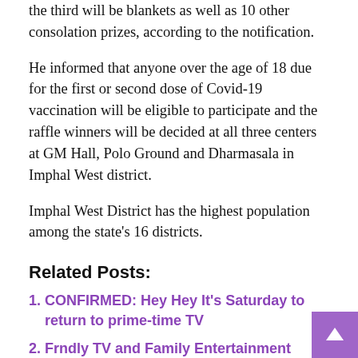the third will be blankets as well as 10 other consolation prizes, according to the notification.
He informed that anyone over the age of 18 due for the first or second dose of Covid-19 vaccination will be eligible to participate and the raffle winners will be decided at all three centers at GM Hall, Polo Ground and Dharmasala in Imphal West district.
Imphal West District has the highest population among the state's 16 districts.
Related Posts:
CONFIRMED: Hey Hey It's Saturday to return to prime-time TV
Frndly TV and Family Entertainment Television Announce Distribution Partnership | State
Warner Bros. Television Group leads studios in Emmy nominations with 79